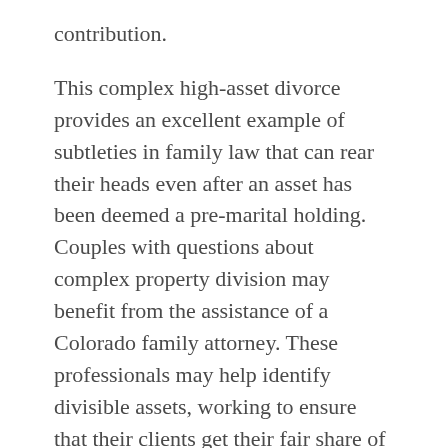contribution.
This complex high-asset divorce provides an excellent example of subtleties in family law that can rear their heads even after an asset has been deemed a pre-marital holding. Couples with questions about complex property division may benefit from the assistance of a Colorado family attorney. These professionals may help identify divisible assets, working to ensure that their clients get their fair share of the marital estate.
Source: The Wall Street Journal, “Divorce May Weaken Oilman’s Stake in Drilling